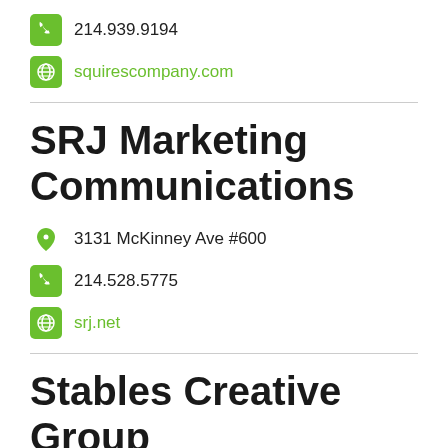214.939.9194
squirescompany.com
SRJ Marketing Communications
3131 McKinney Ave #600
214.528.5775
srj.net
Stables Creative Group
3636 Bent Ridge Dr
972.231.5724
stablescreative.com